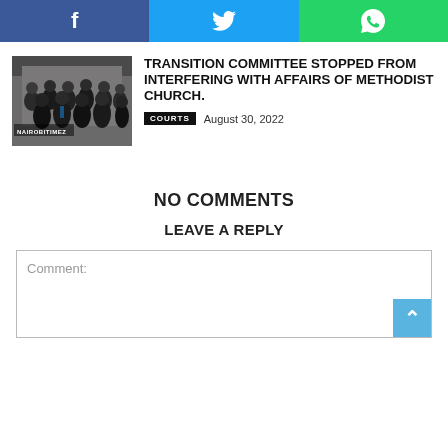[Figure (other): Social media share buttons: Facebook (blue), Twitter (light blue), WhatsApp (green)]
[Figure (photo): Group photo of people in suits, labeled NAIROBITIMEZ]
TRANSITION COMMITTEE STOPPED FROM INTERFERING WITH AFFAIRS OF METHODIST CHURCH.
COURTS   August 30, 2022
NO COMMENTS
LEAVE A REPLY
Comment: